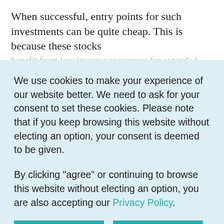When successful, entry points for such investments can be quite cheap. This is because these stocks
We use cookies to make your experience of our website better. We need to ask for your consent to set these cookies. Please note that if you keep browsing this website without electing an option, your consent is deemed to be given.
By clicking "agree" or continuing to browse this website without electing an option, you are also accepting our Privacy Policy.